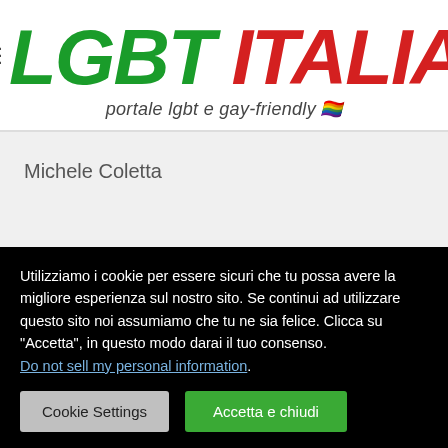[Figure (logo): LGBT ITALIA logo with hamburger menu icon. 'LGBT' in large bold green italic text, 'ITALIA' in large bold red italic text. Subtitle: 'portale lgbt e gay-friendly' with rainbow heart emoji.]
Michele Coletta
Utilizziamo i cookie per essere sicuri che tu possa avere la migliore esperienza sul nostro sito. Se continui ad utilizzare questo sito noi assumiamo che tu ne sia felice. Clicca su "Accetta", in questo modo darai il tuo consenso. Do not sell my personal information.